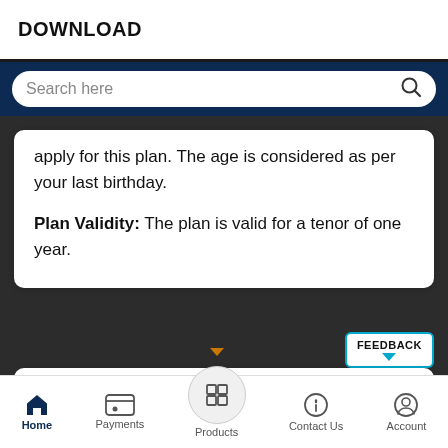DOWNLOAD
Search here
apply for this plan. The age is considered as per your last birthday.

Plan Validity: The plan is valid for a tenor of one year.
What's Covered
[Figure (screenshot): Mobile app bottom navigation bar with Home, Payments, Products (center, elevated circle), Contact Us, and Account icons]